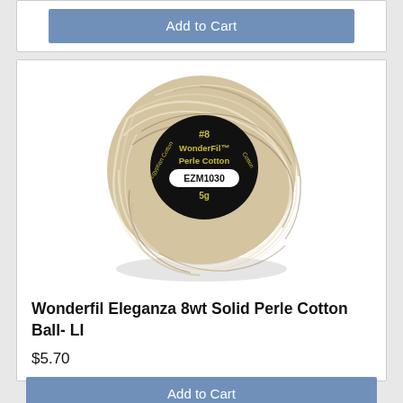[Figure (other): Blue 'Add to Cart' button at top of page (partial card visible)]
[Figure (photo): Photo of a WonderFil Perle Cotton thread ball, beige/tan variegated color, labeled #8 WonderFil Perle Cotton EZM1030 5g]
Wonderfil Eleganza 8wt Solid Perle Cotton Ball- LI
$5.70
[Figure (other): Blue 'Add to Cart' button at bottom of card]